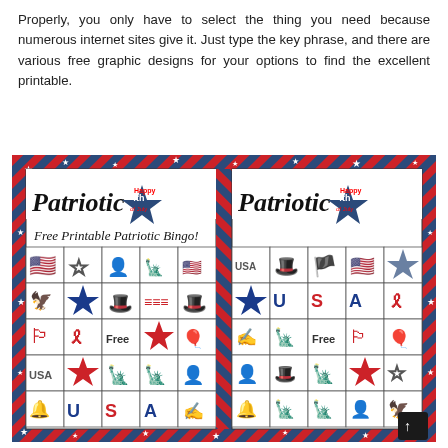Properly, you only have to select the thing you need because numerous internet sites give it. Just type the key phrase, and there are various free graphic designs for your options to find the excellent printable.
[Figure (illustration): Two patriotic bingo cards with red, white and blue decorative border featuring stars and diagonal stripes. Cards are titled 'Patriotic' with a 'Happy 4th of July' star graphic. Below is text 'Free Printable Patriotic Bingo!' Each card shows a 5x5 grid of patriotic imagery including flags, stars, Uncle Sam hats, Statue of Liberty, Lincoln, USA text, bells, ribbons, balloons, and a 'Free' center square.]